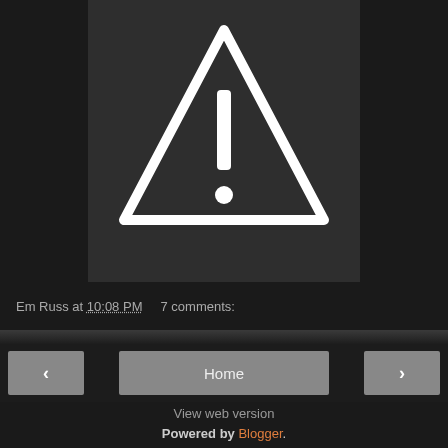[Figure (illustration): Dark gray panel with a white warning/caution triangle icon (exclamation mark inside triangle) centered near the top]
Em Russ at 10:08 PM    7 comments:
Home
View web version
Powered by Blogger.